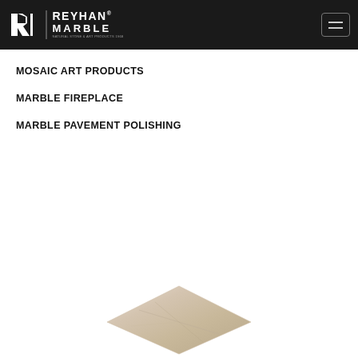REYHAN MARBLE
MOSAIC ART PRODUCTS
MARBLE FIREPLACE
MARBLE PAVEMENT POLISHING
[Figure (photo): Partial view of a marble tile or slab product at the bottom of the page]